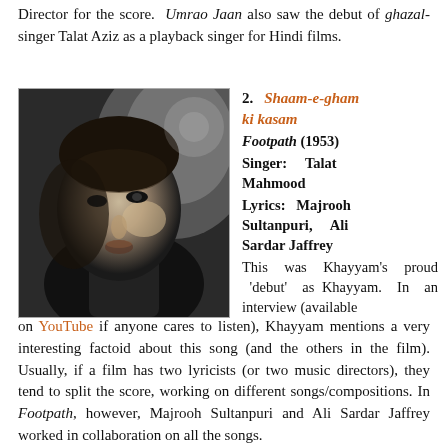Director for the score. Umrao Jaan also saw the debut of ghazal-singer Talat Aziz as a playback singer for Hindi films.
[Figure (photo): Black and white still from a film showing a man's face in close-up, dramatic lighting.]
2. Shaam-e-gham ki kasam
Footpath (1953)
Singer: Talat Mahmood
Lyrics: Majrooh Sultanpuri, Ali Sardar Jaffrey
This was Khayyam's proud 'debut' as Khayyam. In an interview (available on YouTube if anyone cares to listen), Khayyam mentions a very interesting factoid about this song (and the others in the film). Usually, if a film has two lyricists (or two music directors), they tend to split the score, working on different songs/compositions. In Footpath, however, Majrooh Sultanpuri and Ali Sardar Jaffrey worked in collaboration on all the songs.